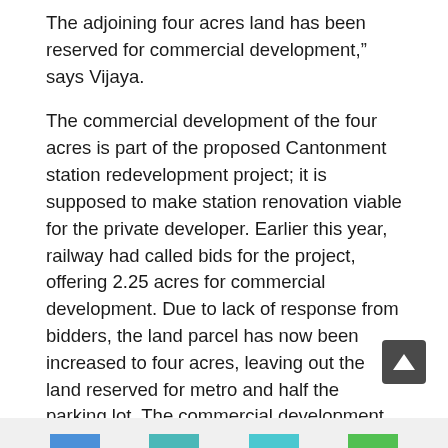The adjoining four acres land has been reserved for commercial development,” says Vijaya.
The commercial development of the four acres is part of the proposed Cantonment station redevelopment project; it is supposed to make station renovation viable for the private developer. Earlier this year, railway had called bids for the project, offering 2.25 acres for commercial development. Due to lack of response from bidders, the land parcel has now been increased to four acres, leaving out the land reserved for metro and half the parking lot. The commercial development is also supposed to include a multi-level car parking facility for train and metro passengers.
In the next part, we will look at why the station location is important and what alternatives exist.